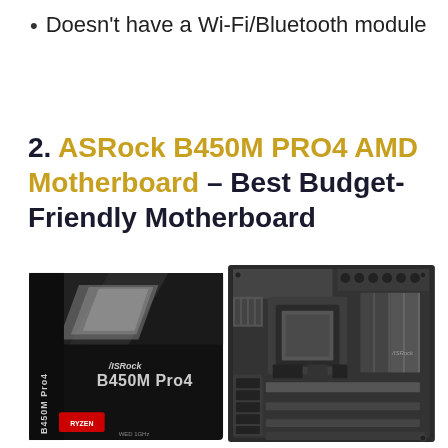Doesn't have a Wi-Fi/Bluetooth module
2. ASRock B450M PRO4 AMD Motherboard – Best Budget-Friendly Motherboard
[Figure (photo): ASRock B450M Pro4 AMD motherboard shown next to its product box. The box is black with silver diagonal design elements and 'B450M Pro4' branding with Ryzen logo. The motherboard is a mATX form factor with black PCB, AMD AM4 socket, four RAM slots, and various connectors.]